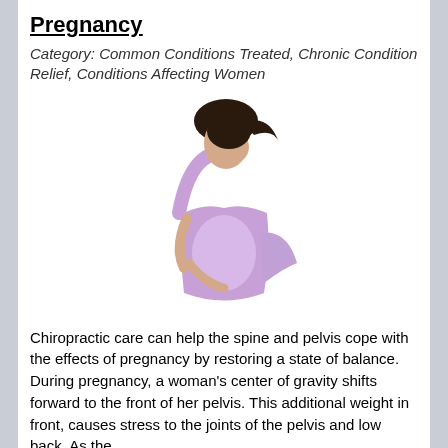Pregnancy
Category: Common Conditions Treated, Chronic Condition Relief, Conditions Affecting Women
[Figure (photo): A pregnant woman in a purple dress looking down at her belly]
Chiropractic care can help the spine and pelvis cope with the effects of pregnancy by restoring a state of balance. During pregnancy, a woman's center of gravity shifts forward to the front of her pelvis. This additional weight in front, causes stress to the joints of the pelvis and low back. As the
Read more
Frozen Shoulder
Category: Common Conditions Treated, Chronic